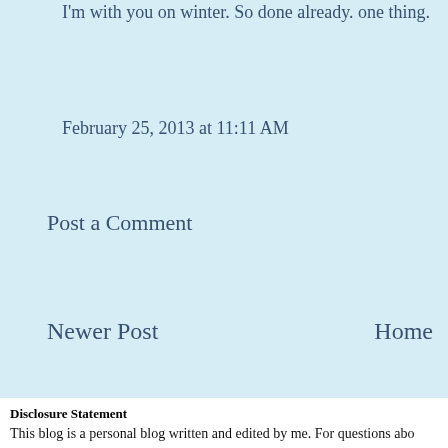I'm with you on winter. So done already. one thing.
February 25, 2013 at 11:11 AM
Post a Comment
Newer Post
Home
Subscribe to: Post Comme
Disclosure Statement
This blog is a personal blog written and edited by me. For questions abo